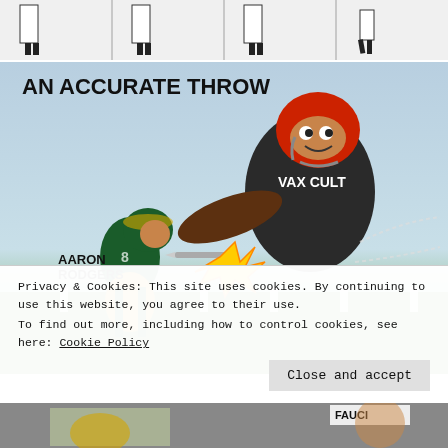[Figure (illustration): Top strip showing a sequence of cartoon panels with figures in white coats (doctors/scientists)]
[Figure (illustration): Editorial cartoon titled 'AN ACCURATE THROW' showing a large football player in a black jersey labeled 'VAX CULT' throwing/tackling a smaller Green Bay Packers player labeled 'AARON RODGERS']
Privacy & Cookies: This site uses cookies. By continuing to use this website, you agree to their use.
To find out more, including how to control cookies, see here: Cookie Policy
Close and accept
[Figure (illustration): Bottom partial strip showing another cartoon panel with figure labeled FAUCI]